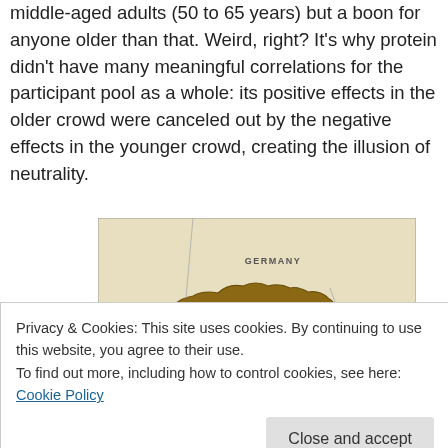middle-aged adults (50 to 65 years) but a boon for anyone older than that. Weird, right? It's why protein didn't have many meaningful correlations for the participant pool as a whole: its positive effects in the older crowd were canceled out by the negative effects in the younger crowd, creating the illusion of neutrality.
[Figure (map): Partial map showing Switzerland and neighboring regions including Germany, France, Liechtenstein, and Austria. Cities Zurich and Lucerne are marked.]
Privacy & Cookies: This site uses cookies. By continuing to use this website, you agree to their use.
To find out more, including how to control cookies, see here: Cookie Policy
Close and accept